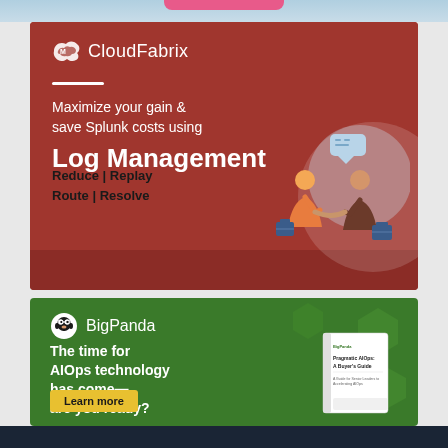[Figure (illustration): Top decorative strip with pink rounded tab]
[Figure (illustration): CloudFabrix advertisement banner: dark red background with logo, tagline 'Maximize your gain & save Splunk costs using Log Management', subtext 'Reduce | Replay Route | Resolve', illustration of two people shaking hands]
[Figure (illustration): BigPanda advertisement banner: dark green background with panda logo, headline 'The time for AIOps technology has come— are you ready?', yellow Learn more button, book thumbnail showing 'Pragmatic AIOps: A Buyer's Guide']
[Figure (illustration): Bottom dark navy strip]